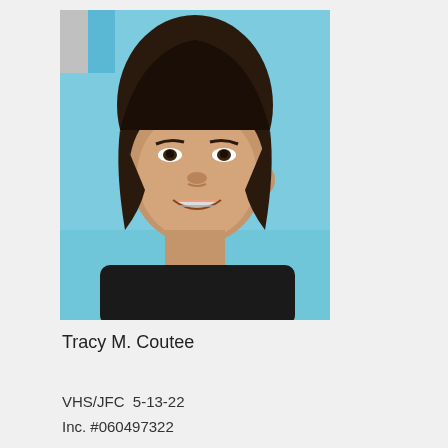[Figure (photo): ID photo of Tracy M. Coutee, a woman smiling, against a light blue background, wearing a black top. A redaction box covers the upper-left corner of the photo.]
Tracy M. Coutee
VHS/JFC  5-13-22
Inc. #060497322